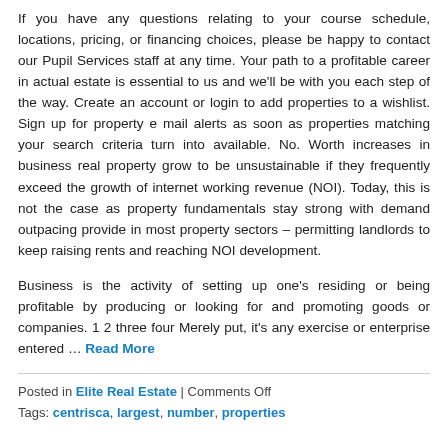If you have any questions relating to your course schedule, locations, pricing, or financing choices, please be happy to contact our Pupil Services staff at any time. Your path to a profitable career in actual estate is essential to us and we'll be with you each step of the way. Create an account or login to add properties to a wishlist. Sign up for property e mail alerts as soon as properties matching your search criteria turn into available. No. Worth increases in business real property grow to be unsustainable if they frequently exceed the growth of internet working revenue (NOI). Today, this is not the case as property fundamentals stay strong with demand outpacing provide in most property sectors – permitting landlords to keep raising rents and reaching NOI development.
Business is the activity of setting up one's residing or being profitable by producing or looking for and promoting goods or companies. 1 2 three four Merely put, it's any exercise or enterprise entered … Read More
Posted in Elite Real Estate | Comments Off
Tags: centrisca, largest, number, properties